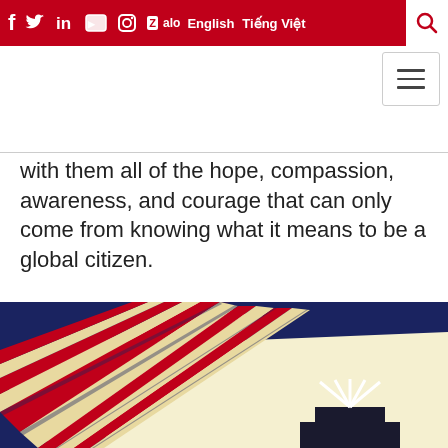f  [twitter]  in  [youtube]  [instagram]  Zalo English  Tiếng Việt  [search]
with them all of the hope, compassion, awareness, and courage that can only come from knowing what it means to be a global citizen.
[Figure (illustration): Partial view of a book or publication cover with a dark navy blue background, a diagonal red and cream striped rope or twisted element running from lower-left to upper-right, a cream/off-white rectangular area in the center-right, and a dark building/logo graphic in the lower right with 'ECCE' text.]